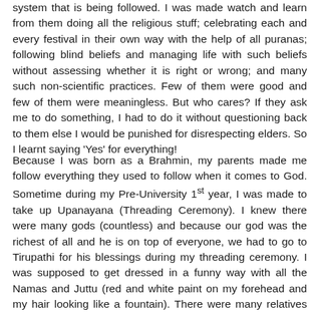system that is being followed. I was made watch and learn from them doing all the religious stuff; celebrating each and every festival in their own way with the help of all puranas; following blind beliefs and managing life with such beliefs without assessing whether it is right or wrong; and many such non-scientific practices. Few of them were good and few of them were meaningless. But who cares? If they ask me to do something, I had to do it without questioning back to them else I would be punished for disrespecting elders. So I learnt saying 'Yes' for everything!
Because I was born as a Brahmin, my parents made me follow everything they used to follow when it comes to God. Sometime during my Pre-University 1st year, I was made to take up Upanayana (Threading Ceremony). I knew there were many gods (countless) and because our god was the richest of all and he is on top of everyone, we had to go to Tirupathi for his blessings during my threading ceremony. I was supposed to get dressed in a funny way with all the Namas and Juttu (red and white paint on my forehead and my hair looking like a fountain). There were many relatives who attended the event and blessed me religiously. I was